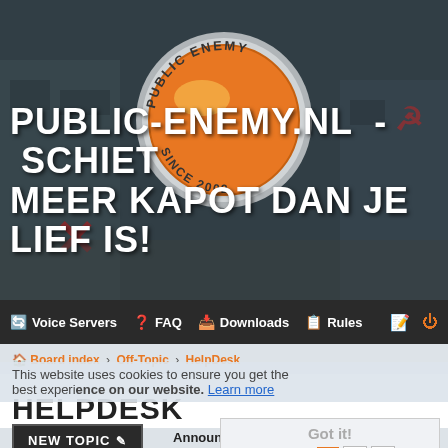[Figure (screenshot): Website header banner with dark grungy background showing a war-torn city scene, large orange/silver circular logo with 'PUBLIC ENEMY' and 'SINCE 2002' text, and bold white text 'PUBLIC-ENEMY.NL - SCHIET MEER KAPOT DAN JE LIEF IS!']
Voice Servers | FAQ | Downloads | Rules
Board index › Off-Topic › HelpDesk
This website uses cookies to ensure you get the best experience on our website. Learn more
HELPDESK
NEW TOPIC
Got it!
39 topics 1 2 >
Announcements